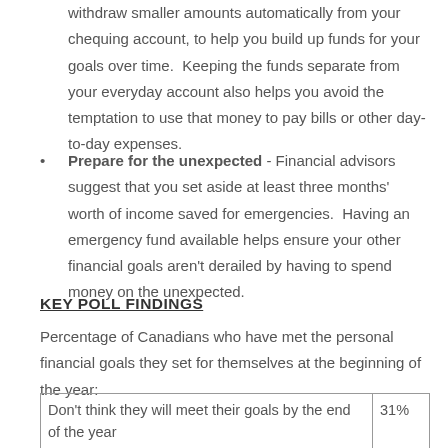withdraw smaller amounts automatically from your chequing account, to help you build up funds for your goals over time.  Keeping the funds separate from your everyday account also helps you avoid the temptation to use that money to pay bills or other day-to-day expenses.
Prepare for the unexpected - Financial advisors suggest that you set aside at least three months' worth of income saved for emergencies.  Having an emergency fund available helps ensure your other financial goals aren't derailed by having to spend money on the unexpected.
KEY POLL FINDINGS
Percentage of Canadians who have met the personal financial goals they set for themselves at the beginning of the year:
|  |  |
| --- | --- |
| Don't think they will meet their goals by the end of the year | 31% |
| Have met some of their goals so far, and plan to meet | 30% |